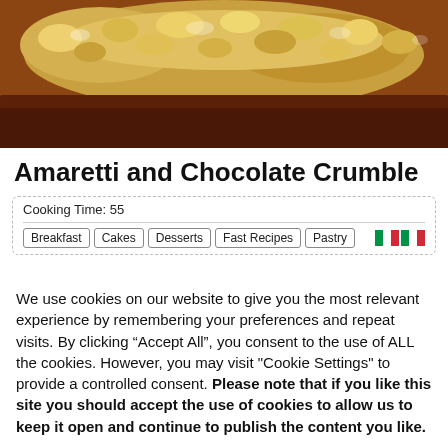[Figure (photo): Close-up photo of Amaretti and Chocolate Crumble dessert with golden crumble topping over a chocolate layer]
Amaretti and Chocolate Crumble
Cooking Time: 55
Breakfast | Cakes | Desserts | Fast Recipes | Pastry
We use cookies on our website to give you the most relevant experience by remembering your preferences and repeat visits. By clicking “Accept All”, you consent to the use of ALL the cookies. However, you may visit "Cookie Settings" to provide a controlled consent. Please note that if you like this site you should accept the use of cookies to allow us to keep it open and continue to publish the content you like.
Cookie Settings
Accept All
Reject All